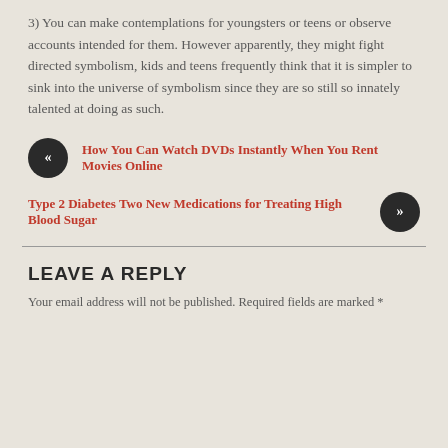3) You can make contemplations for youngsters or teens or observe accounts intended for them. However apparently, they might fight directed symbolism, kids and teens frequently think that it is simpler to sink into the universe of symbolism since they are so still so innately talented at doing as such.
« How You Can Watch DVDs Instantly When You Rent Movies Online
Type 2 Diabetes Two New Medications for Treating High Blood Sugar »
LEAVE A REPLY
Your email address will not be published. Required fields are marked *